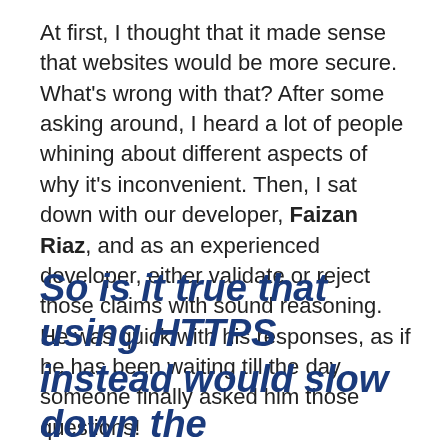At first, I thought that it made sense that websites would be more secure. What's wrong with that? After some asking around, I heard a lot of people whining about different aspects of why it's inconvenient. Then, I sat down with our developer, Faizan Riaz, and as an experienced developer, either validate or reject those claims with sound reasoning. He was quick with his responses, as if he has been waiting till the day someone finally asked him those questions!
So is it true that using HTTPS instead would slow down the